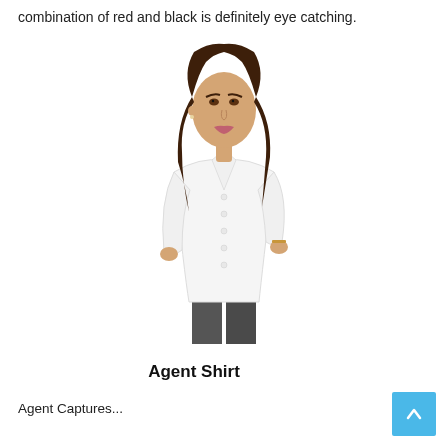combination of red and black is definitely eye catching.
[Figure (photo): Woman wearing a white button-up shirt with 3/4 sleeves and dark grey trousers, posing against a white background.]
Agent Shirt
Agent Captures...